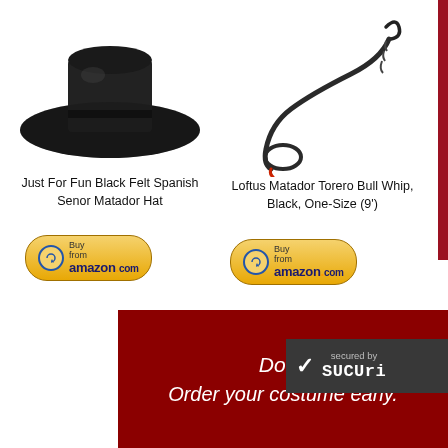[Figure (photo): Black felt wide-brim Spanish Matador hat, flat top, against white background]
Just For Fun Black Felt Spanish Senor Matador Hat
[Figure (photo): Buy from Amazon.com button - golden/yellow oval button with Amazon logo]
[Figure (photo): Black bull whip with red tip, coiled at end, against white background]
Loftus Matador Torero Bull Whip, Black, One-Size (9')
[Figure (photo): Buy from Amazon.com button - golden/yellow oval button with Amazon logo]
Don't
Order your costume early.
[Figure (logo): Sucuri security badge - dark gray rectangle with checkmark and 'secured by Sucuri' text]